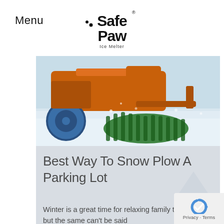Menu
[Figure (logo): Safe Paw Ice Melter logo in black stylized text]
[Figure (photo): A snow plow/sweeper machine with rotating green brush attachment clearing a snowy road, tractor with blue wheel visible]
Best Way To Snow Plow A Parking Lot
Winter is a great time for relaxing family time, but the same can't be said